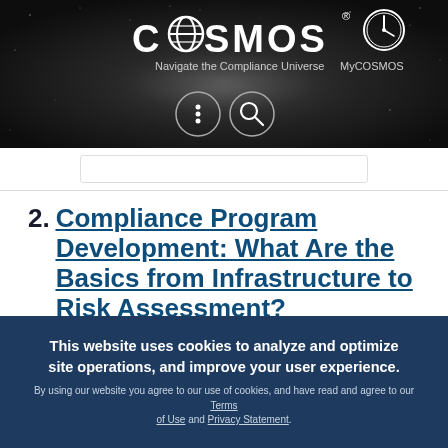[Figure (logo): COSMOS logo with globe icon and MyCOSMOS badge; tagline: Navigate the Compliance Universe; menu and search icons on dark starfield background]
2. Compliance Program Development: What Are the Basics from Infrastructure to Risk Assessment?
2020 Virtual Compliance Institute (CI) | Presenter(s): Sheryl Vacca
| April 01, 2020 🔒
This website uses cookies to analyze and optimize site operations, and improve your user experience.
By using our website you agree to our use of cookies, and have read and agree to our Terms of Use and Privacy Statement.